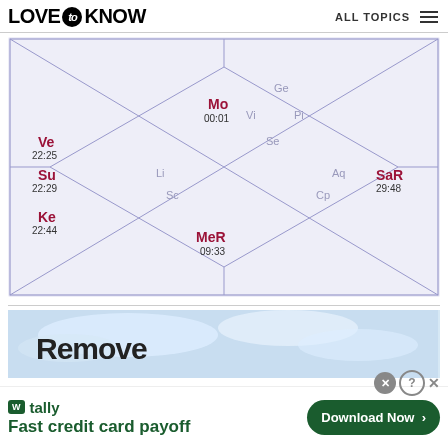LOVE to KNOW | ALL TOPICS
[Figure (other): North Indian astrological birth chart (Kundli) showing planetary positions. Mo 00:01 in top-center area; Ve 22:25 and Su 22:29 and Ke 22:44 on left side; Li and Sc labels center-left; Ge, Vi, Pi labels top-right area; Se center; Aq and Cp labels right-center; SaR 29:48 on far right; MeR 09:33 bottom-center. Chart has diagonal lines forming diamond/box pattern on blue-tinted background.]
[Figure (screenshot): Advertisement banner showing sky/clouds background with text 'Remove' partially visible and a close X button.]
[Figure (other): Bottom advertisement bar: Tally app logo and brand name with slogan 'Fast credit card payoff' and a green 'Download Now' button with arrow. Help and close icons in upper right corner.]